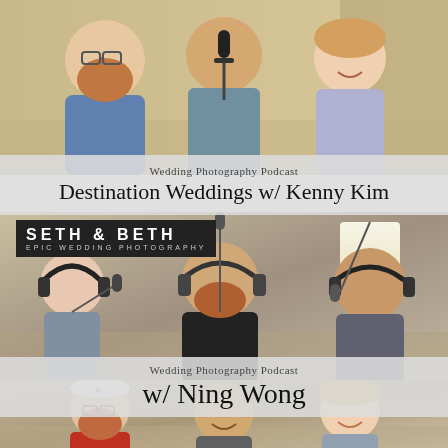[Figure (photo): Three people (two men and a woman) laughing and posing together near podcast microphones in a studio setting]
Wedding Photography Podcast
Destination Weddings w/ Kenny Kim
[Figure (photo): Three people seated around podcast microphones with headphones on in a recording session. Seth & Beth Epic Wedding Photography logo visible in upper left.]
Wedding Photography Podcast
w/ Ning Wong
[Figure (photo): Three people (two men and a woman) smiling together in a casual setting]